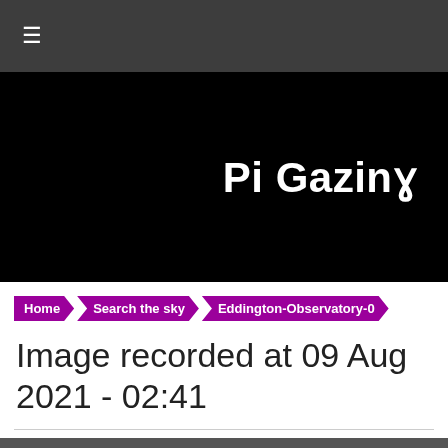≡
[Figure (screenshot): Black hero banner with 'Pi Gazing' website title text in white bold font, right-aligned]
Pi Gazing
Home › Search the sky › Eddington-Observatory-0
Image recorded at 09 Aug 2021 - 02:41
Previous | Next